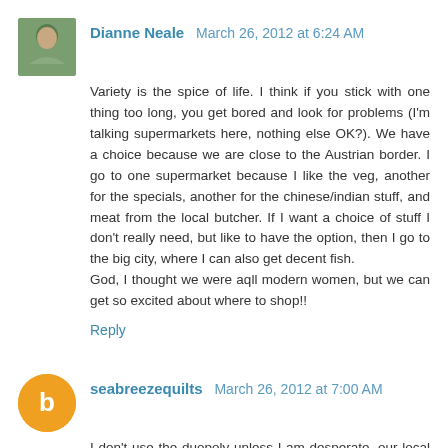Dianne Neale  March 26, 2012 at 6:24 AM
Variety is the spice of life. I think if you stick with one thing too long, you get bored and look for problems (I'm talking supermarkets here, nothing else OK?). We have a choice because we are close to the Austrian border. I go to one supermarket because I like the veg, another for the specials, another for the chinese/indian stuff, and meat from the local butcher. If I want a choice of stuff I don't really need, but like to have the option, then I go to the big city, where I can also get decent fish.
God, I thought we were aqll modern women, but we can get so excited about where to shop!!
Reply
seabreezequilts  March 26, 2012 at 7:00 AM
I don't use the duopoly unless I am desperate, our local local has an excellent range mostly great staff lets face it most of them are teenagers, and has just had a major